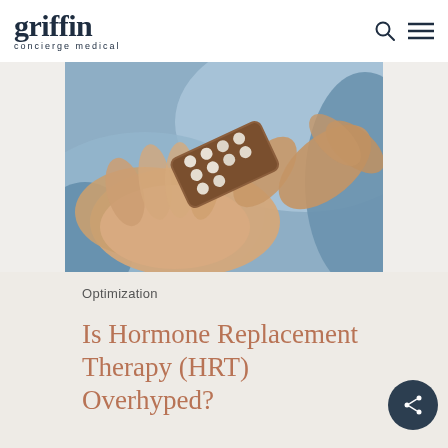griffin concierge medical
[Figure (photo): Person in a light blue shirt holding an open blister pack of pills/tablets in their palm, viewed from above at close range.]
Optimization
Is Hormone Replacement Therapy (HRT) Overhyped?